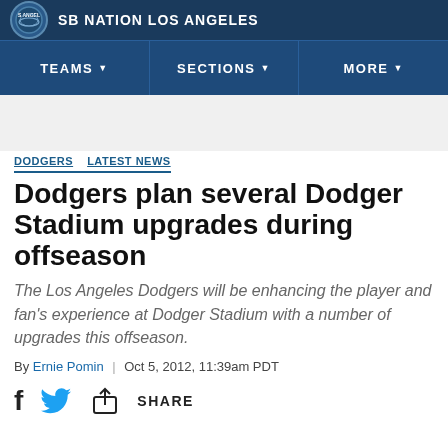SB NATION LOS ANGELES
TEAMS   SECTIONS   MORE
DODGERS   LATEST NEWS
Dodgers plan several Dodger Stadium upgrades during offseason
The Los Angeles Dodgers will be enhancing the player and fan's experience at Dodger Stadium with a number of upgrades this offseason.
By Ernie Pomin | Oct 5, 2012, 11:39am PDT
SHARE